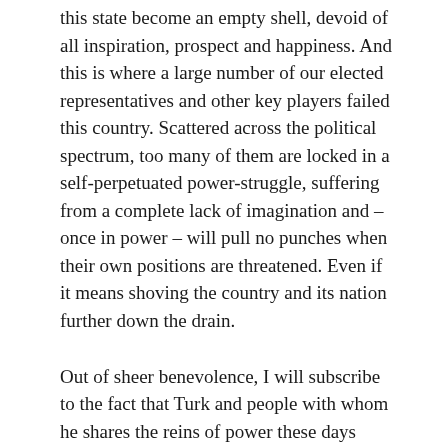this state become an empty shell, devoid of all inspiration, prospect and happiness. And this is where a large number of our elected representatives and other key players failed this country. Scattered across the political spectrum, too many of them are locked in a self-perpetuated power-struggle, suffering from a complete lack of imagination and – once in power – will pull no punches when their own positions are threatened. Even if it means shoving the country and its nation further down the drain.
Out of sheer benevolence, I will subscribe to the fact that Turk and people with whom he shares the reins of power these days genuinely want to do good. But this will not be achieved by wearing countless hats, switching at pleasure from role to role. A minister is a minister 24/7. He or she cannot choose to be a politician in the morning, a professor in the